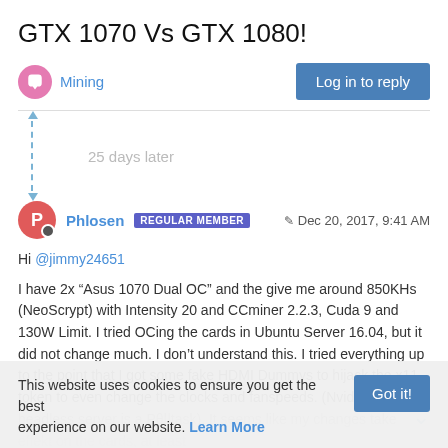GTX 1070 Vs GTX 1080!
Mining
Log in to reply
25 days later
Phlosen  REGULAR MEMBER   Dec 20, 2017, 9:41 AM
Hi @jimmy24651
I have 2x “Asus 1070 Dual OC” and the give me around 850KHs (NeoScrypt) with Intensity 20 and CCminer 2.2.3, Cuda 9 and 130W Limit. I tried OCing the cards in Ubuntu Server 16.04, but it did not change much. I don’t understand this. I tried everything up to the point that I got some fake HDMI Dummys to hijack the x11 token to even change the clocks and fanspeeds. (Nvidia OC in headless server is a Pθ||task). It seems like my changes take effekt on the cards, at least
This website uses cookies to ensure you get the best experience on our website. Learn More